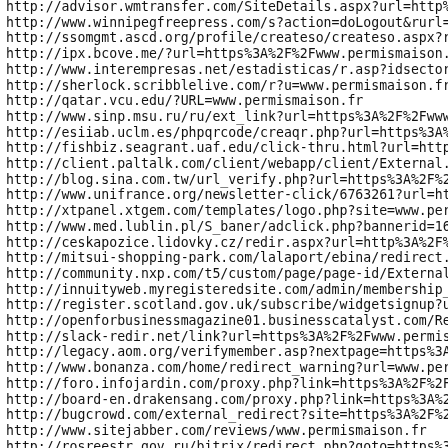http://advisor.wmtransfer.com/SiteDetails.aspx?url=http%3A
http://www.winnipegfreepress.com/s?action=doLogout&rurl=htt
http://ssomgmt.ascd.org/profile/createso/createso.aspx?re
http://ipx.bcove.me/?url=https%3A%2F%2Fwww.permismaison.fr%
http://www.interempresas.net/estadisticas/r.asp?idsector=12
http://sherlock.scribblelive.com/r?u=www.permismaison.fr
http://qatar.vcu.edu/?URL=www.permismaison.fr
http://www.sinp.msu.ru/ru/ext_link?url=https%3A%2F%2Fwww.pe
http://esiiab.uclm.es/phpqrcode/creaqr.php?url=https%3A%2F%
http://fishbiz.seagrant.uaf.edu/click-thru.html?url=https%3
http://client.paltalk.com/client/webapp/client/External.wmt
http://blog.sina.com.tw/url_verify.php?url=https%3A%2F%2Fwww
http://www.unifrance.org/newsletter-click/6763261?url=http%
http://xtpanel.xtgem.com/templates/logo.php?site=www.permis
http://www.med.lublin.pl/S_baner/adclick.php?bannerid=16&zo
http://ceskapozice.lidovky.cz/redir.aspx?url=http%3A%2F%2Fw
http://mitsui-shopping-park.com/lalaport/ebina/redirect.htm
http://community.nxp.com/t5/custom/page/page-id/ExternalRed
http://innuityweb.myregisteredsite.com/admin/membership_agr
http://register.scotland.gov.uk/subscribe/widgetsignup?url=
http://openforbusinessmagazine01.businesscatalyst.com/Redir
http://slack-redir.net/link?url=https%3A%2F%2Fwww.permismai
http://legacy.aom.org/verifymember.asp?nextpage=https%3A%2F
http://www.bonanza.com/home/redirect_warning?url=www.permis
http://foro.infojardin.com/proxy.php?link=https%3A%2F%2Fwww
http://board-en.drakensang.com/proxy.php?link=https%3A%2F%2
http://bugcrowd.com/external_redirect?site=https%3A%2F%2Fwww
http://www.sitejabber.com/reviews/www.permismaison.fr
http://rosreestr.gov.ru/bitrix/redirect.php?goto=https%3A%2
http://hostedmovieupdates.aebn.net/feed/?urlstub=www.permis